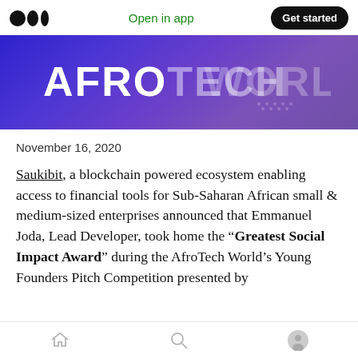Open in app | Get started
[Figure (photo): AfroTech World banner image with white text on a purple/blue gradient background]
November 16, 2020
Saukibit, a blockchain powered ecosystem enabling access to financial tools for Sub-Saharan African small & medium-sized enterprises announced that Emmanuel Joda, Lead Developer, took home the “Greatest Social Impact Award” during the AfroTech World’s Young Founders Pitch Competition presented by